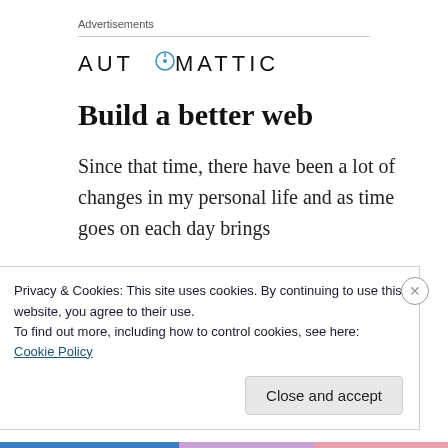Advertisements
[Figure (logo): Automattic logo with compass icon in the letter O]
Build a better web
Since that time, there have been a lot of changes in my personal life and as time goes on each day brings
Privacy & Cookies: This site uses cookies. By continuing to use this website, you agree to their use.
To find out more, including how to control cookies, see here: Cookie Policy
Close and accept